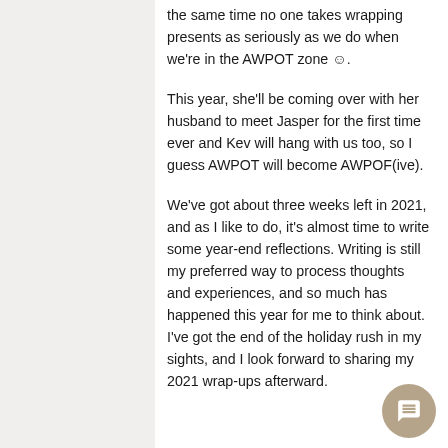the same time no one takes wrapping presents as seriously as we do when we're in the AWPOT zone ☺.
This year, she'll be coming over with her husband to meet Jasper for the first time ever and Kev will hang with us too, so I guess AWPOT will become AWPOF(ive).
We've got about three weeks left in 2021, and as I like to do, it's almost time to write some year-end reflections. Writing is still my preferred way to process thoughts and experiences, and so much has happened this year for me to think about. I've got the end of the holiday rush in my sights, and I look forward to sharing my 2021 wrap-ups afterward.